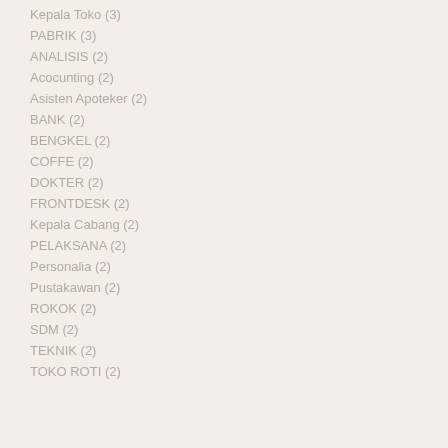Kepala Toko (3)
PABRIK (3)
ANALISIS (2)
Acocunting (2)
Asisten Apoteker (2)
BANK (2)
BENGKEL (2)
COFFE (2)
DOKTER (2)
FRONTDESK (2)
Kepala Cabang (2)
PELAKSANA (2)
Personalia (2)
Pustakawan (2)
ROKOK (2)
SDM (2)
TEKNIK (2)
TOKO ROTI (2)